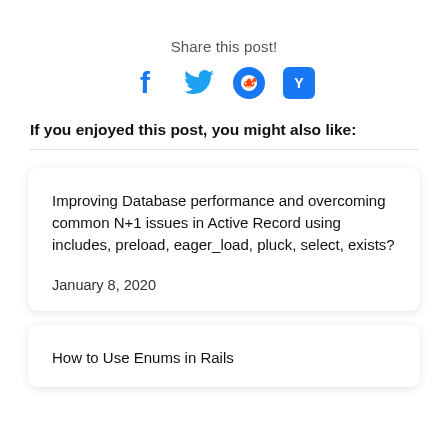Share this post!
[Figure (illustration): Social share icons: Facebook (f), Twitter (bird), Reddit (alien face in circle), Hacker News (Y in rounded square)]
If you enjoyed this post, you might also like:
Improving Database performance and overcoming common N+1 issues in Active Record using includes, preload, eager_load, pluck, select, exists?
January 8, 2020
How to Use Enums in Rails